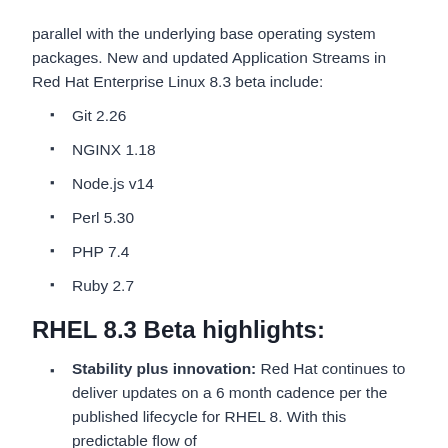parallel with the underlying base operating system packages. New and updated Application Streams in Red Hat Enterprise Linux 8.3 beta include:
Git 2.26
NGINX 1.18
Node.js v14
Perl 5.30
PHP 7.4
Ruby 2.7
RHEL 8.3 Beta highlights:
Stability plus innovation: Red Hat continues to deliver updates on a 6 month cadence per the published lifecycle for RHEL 8. With this predictable flow of